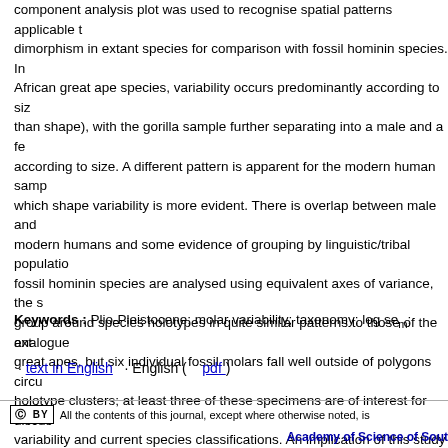component analysis plot was used to recognise spatial patterns applicable to dimorphism in extant species for comparison with fossil hominin species. In African great ape species, variability occurs predominantly according to size than shape), with the gorilla sample further separating into a male and a female according to size. A different pattern is apparent for the modern human sample which shape variability is more evident. There is overlap between male and modern humans and some evidence of grouping by linguistic/tribal population. fossil hominin species are analysed using equivalent axes of variance, the s group around species holotypes in quite similar patterns to those of the extant great apes, but six individual fossil molars fall well outside of polygons circum holotype clusters; at least three of these specimens are of interest for discussion variability and current species classifications. An implication of this study is that caution needs to be exercised in using extant species as analogues for assessing dimorphism in fossil hominin species.
Keywords : Plio-Pleistocene; molar variability; taxonomy; log sem; analogue
· text in English · English ( pdf )
All the contents of this journal, except where otherwise noted, is
Academy of Science of South Africa
1st Floor Block A, The Woods, 41 De Havilland
Persequor Park, Meiring Naude Road
PO Box 72135, Lynnwood Ridge, Pretoria 0040
Tel: +27 12 349 6617
sajs@assaf.org.za